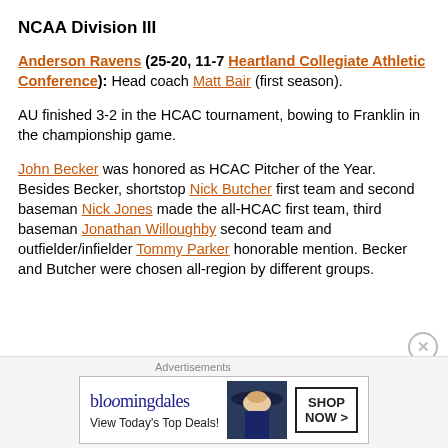NCAA Division III
Anderson Ravens (25-20, 11-7 Heartland Collegiate Athletic Conference): Head coach Matt Bair (first season).
AU finished 3-2 in the HCAC tournament, bowing to Franklin in the championship game.
John Becker was honored as HCAC Pitcher of the Year. Besides Becker, shortstop Nick Butcher first team and second baseman Nick Jones made the all-HCAC first team, third baseman Jonathan Willoughby second team and outfielder/infielder Tommy Parker honorable mention. Becker and Butcher were chosen all-region by different groups.
Advertisements
[Figure (other): Bloomingdale's advertisement banner with text 'bloomingdales', 'View Today's Top Deals!' and 'SHOP NOW >' button, with image of woman in hat.]